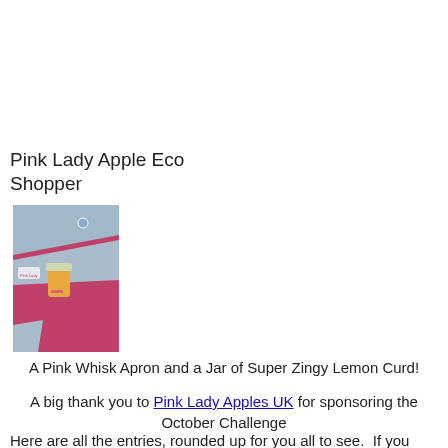Pink Lady Apple Eco Shopper
[Figure (photo): A pink apron / eco shopper bag with denim-style grey trim, displayed on a wooden surface with a small jar of lemon curd sitting inside it.]
A Pink Whisk Apron and a Jar of Super Zingy Lemon Curd!
A big thank you to Pink Lady Apples UK for sponsoring the October Challenge
Here are all the entries, rounded up for you all to see. If you fancy